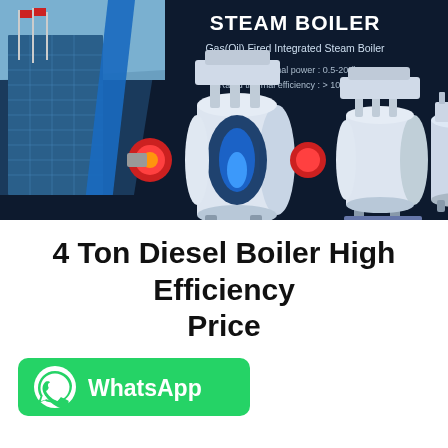[Figure (photo): Dark navy background banner showing a steam boiler product advertisement. Left side has a building exterior photo with flagpoles and blue glass facade. Right side shows three industrial gas/oil fired integrated steam boilers in white/grey with blue accents and red burner fronts. Text overlay reads 'STEAM BOILER', 'Gas(Oil) Fired Integrated Steam Boiler', rated thermal power 0.5-20t/h, rated thermal efficiency >100-104%.]
4 Ton Diesel Boiler High Efficiency Price
[Figure (logo): WhatsApp green button with WhatsApp logo icon and text 'WhatsApp']